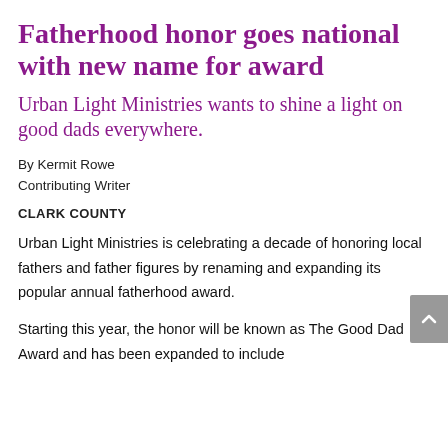Fatherhood honor goes national with new name for award
Urban Light Ministries wants to shine a light on good dads everywhere.
By Kermit Rowe
Contributing Writer
CLARK COUNTY
Urban Light Ministries is celebrating a decade of honoring local fathers and father figures by renaming and expanding its popular annual fatherhood award.
Starting this year, the honor will be known as The Good Dad Award and has been expanded to include